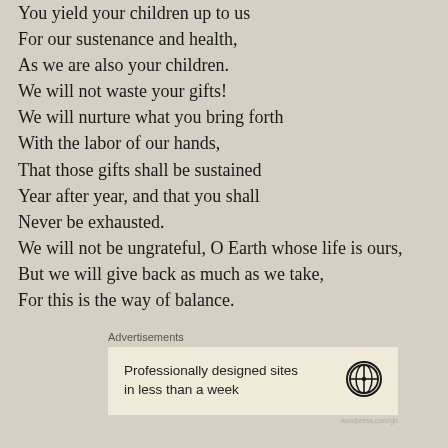You yield your children up to us
For our sustenance and health,
As we are also your children.
We will not waste your gifts!
We will nurture what you bring forth
With the labor of our hands,
That those gifts shall be sustained
Year after year, and that you shall
Never be exhausted.
We will not be ungrateful, O Earth whose life is ours,
But we will give back as much as we take,
For this is the way of balance.
Advertisements
[Figure (other): WordPress advertisement banner: 'Professionally designed sites in less than a week' with WordPress logo]
Chant:
Life harnessed